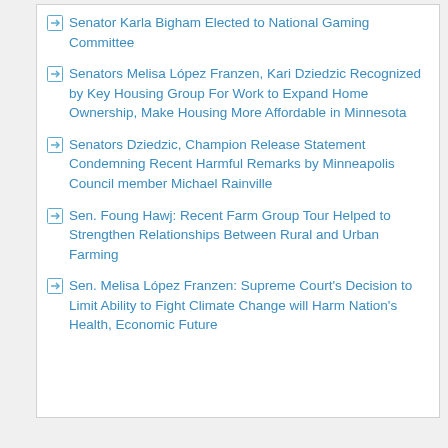Senator Karla Bigham Elected to National Gaming Committee
Senators Melisa López Franzen, Kari Dziedzic Recognized by Key Housing Group For Work to Expand Home Ownership, Make Housing More Affordable in Minnesota
Senators Dziedzic, Champion Release Statement Condemning Recent Harmful Remarks by Minneapolis Council member Michael Rainville
Sen. Foung Hawj: Recent Farm Group Tour Helped to Strengthen Relationships Between Rural and Urban Farming
Sen. Melisa López Franzen: Supreme Court's Decision to Limit Ability to Fight Climate Change will Harm Nation's Health, Economic Future